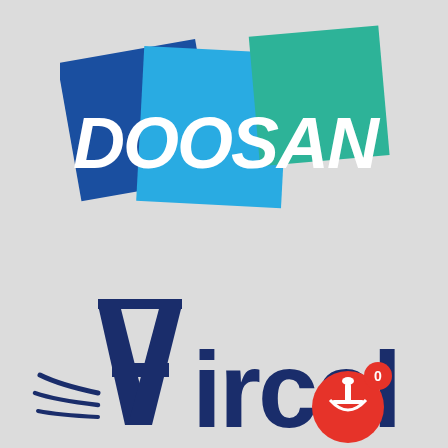[Figure (logo): Doosan corporate logo composed of three overlapping colored squares (dark blue, light blue, green) with white italic bold text 'DOOSAN' across them]
[Figure (logo): Aircel telecom logo with dark navy blue text 'Aircel', a stylized 'A' with speed lines, and a red circle icon with a white mortar-and-pestle symbol and a red notification badge showing '0']